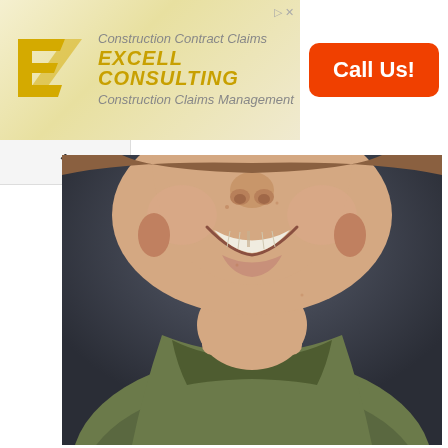[Figure (other): Advertisement banner for Excell Consulting — Construction Contract Claims / Construction Claims Management, with yellow/gold logo and orange 'Call Us!' button]
[Figure (photo): Headshot photo of a young boy smiling with missing front tooth, wearing a green/olive waffle-knit shirt, photographed against a dark gray background. Only the lower face, neck, and upper chest are visible.]